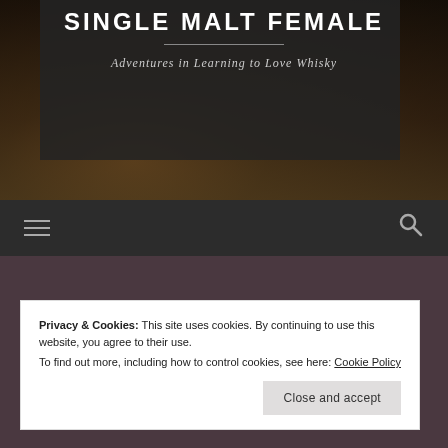[Figure (photo): Hero banner with dark overlay showing whisky glass in background. Blog header for 'Single Malt Female'.]
SINGLE MALT FEMALE
Adventures in Learning to Love Whisky
[Figure (infographic): Navigation bar with hamburger menu icon on left and search icon on right, dark background]
Privacy & Cookies: This site uses cookies. By continuing to use this website, you agree to their use.
To find out more, including how to control cookies, see here: Cookie Policy
Close and accept